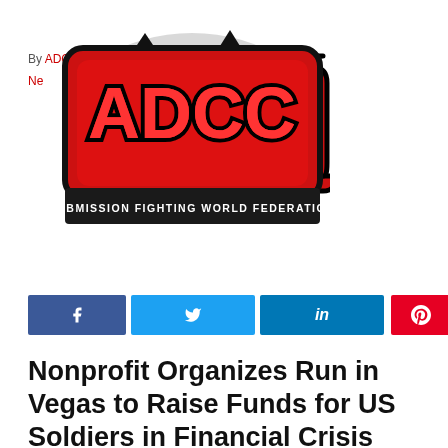By ADCC
Ne
[Figure (logo): ADCC Submission Fighting World Federation logo — red graffiti-style lettering with black outline on white background, with 'SUBMISSION FIGHTING WORLD FEDERATION' text on dark banner beneath]
[Figure (infographic): Social media share buttons row: Facebook (dark blue), Twitter (light blue), LinkedIn (blue), Pinterest (red with pin icon)]
Nonprofit Organizes Run in Vegas to Raise Funds for US Soldiers in Financial Crisis